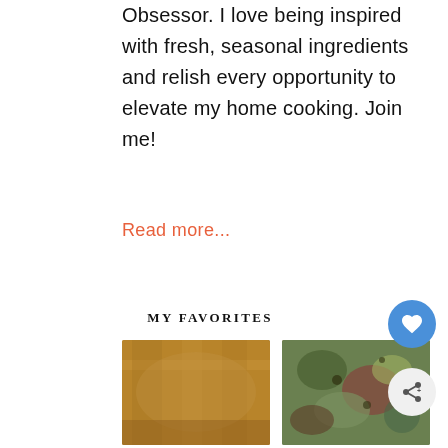Obsessor. I love being inspired with fresh, seasonal ingredients and relish every opportunity to elevate my home cooking. Join me!
Read more...
MY FAVORITES
[Figure (photo): Two food photos side by side: left shows a baked good on a cooling rack, right shows a colorful salad or vegetable dish]
[Figure (illustration): Blue circular button with white heart icon (favorites/like button)]
[Figure (illustration): Light gray circular button with share icon]